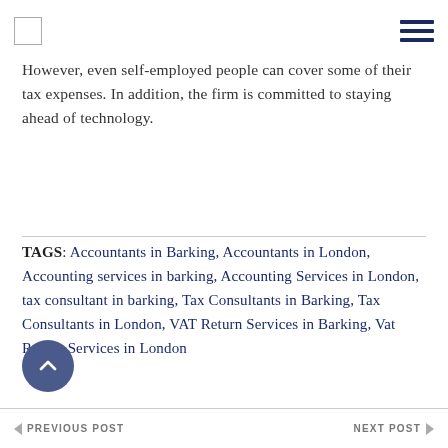[logo box] [hamburger menu]
However, even self-employed people can cover some of their tax expenses. In addition, the firm is committed to staying ahead of technology.
TAGS: Accountants in Barking, Accountants in London, Accounting services in barking, Accounting Services in London, tax consultant in barking, Tax Consultants in Barking, Tax Consultants in London, VAT Return Services in Barking, Vat Return Services in London
PREVIOUS POST   NEXT POST